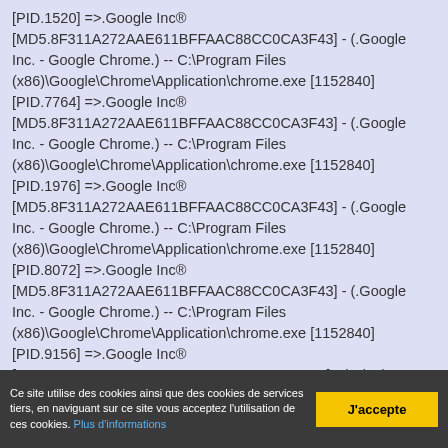[PID.1520] =>.Google Inc® [MD5.8F311A272AAE611BFFAAC88CC0CA3F43] - (.Google Inc. - Google Chrome.) -- C:\Program Files (x86)\Google\Chrome\Application\chrome.exe [1152840] [PID.7764] =>.Google Inc® [MD5.8F311A272AAE611BFFAAC88CC0CA3F43] - (.Google Inc. - Google Chrome.) -- C:\Program Files (x86)\Google\Chrome\Application\chrome.exe [1152840] [PID.1976] =>.Google Inc® [MD5.8F311A272AAE611BFFAAC88CC0CA3F43] - (.Google Inc. - Google Chrome.) -- C:\Program Files (x86)\Google\Chrome\Application\chrome.exe [1152840] [PID.8072] =>.Google Inc® [MD5.8F311A272AAE611BFFAAC88CC0CA3F43] - (.Google Inc. - Google Chrome.) -- C:\Program Files (x86)\Google\Chrome\Application\chrome.exe [1152840] [PID.9156] =>.Google Inc® [MD5.BD497747E5ACE0894B3B424111B3B996] - (.Nicolas Coolman - ZHPDiag.) --
Ce site utilise des cookies ainsi que des cookies de services tiers, en naviguant sur ce site vous acceptez l'utilisation de ces cookies. Plus d'informations